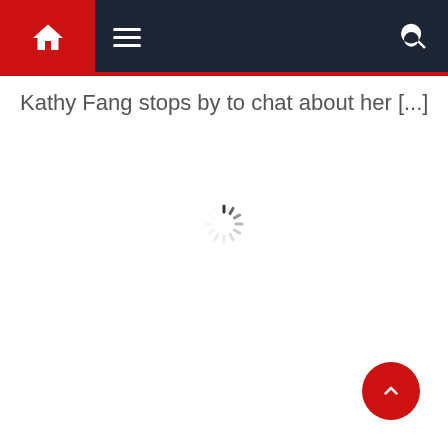Navigation bar with home icon, hamburger menu, and search icon
Kathy Fang stops by to chat about her [...]
[Figure (other): Loading spinner animation in center of page]
[Figure (other): Back to top button — red circle with upward chevron arrow, bottom right corner]